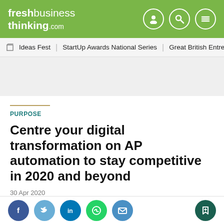freshbusiness thinking.com
Ideas Fest | StartUp Awards National Series | Great British Entrepr
PURPOSE
Centre your digital transformation on AP automation to stay competitive in 2020 and beyond
30 Apr 2020